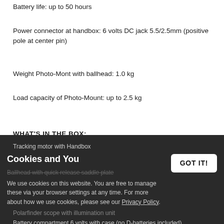Battery life: up to 50 hours
Power connector at handbox: 6 volts DC jack 5.5/2.5mm (positive pole at center pin)
Weight Photo-Mont with ballhead: 1.0 kg
Load capacity of Photo-Mount: up to 2.5 kg
WHAT'S IN THE BOX:
Foto-Mount head
Tracking motor with Handbox
Ballhead with quick release saddle plate
Polarfinder scope with illumination unit
Battery compartment 6 volts with case (no D-batteries included)
Cookies and You — We use cookies on this website. You are free to manage these via your browser settings at any time. For more about how we use cookies, please see our Privacy Policy.